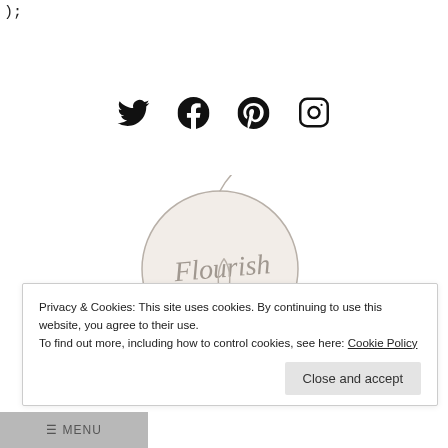);
[Figure (illustration): Four social media icons: Twitter (bird), Facebook (f), Pinterest (P), Instagram (camera) arranged horizontally]
[Figure (logo): Flourish logo: a circular outline with cursive 'Flourish' text and a botanical leaf/flower illustration, beige/cream background]
Privacy & Cookies: This site uses cookies. By continuing to use this website, you agree to their use. To find out more, including how to control cookies, see here: Cookie Policy
Close and accept
≡ MENU